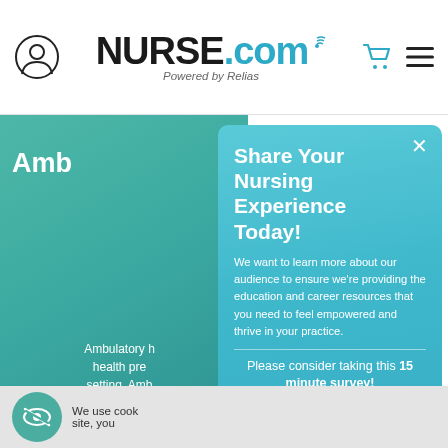NURSE.com Powered by Relias
Amb
Ambulatory health pre setting. Amb nursing, in coordination and legal/re
Share Your Nursing Experience Today!
We want to learn more about our audience to ensure we're providing the education and career resources that you need to feel empowered and thrive in your practice.
Please consider taking this 15 minute survey!
START SURVEY
We use cook site, you